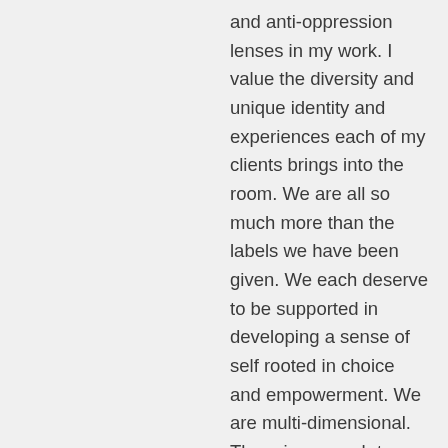and anti-oppression lenses in my work. I value the diversity and unique identity and experiences each of my clients brings into the room. We are all so much more than the labels we have been given. We each deserve to be supported in developing a sense of self rooted in choice and empowerment. We are multi-dimensional. There is so much to each of us, so much below the surface that cannot be seen without taking the time to interact with one another. I have spent a decade facilitating group work with women who had experienced trauma and abuse. My passion is to create an environment in which the stigma and silence surrounding abuse can be broken in the lives of those in our community. I have seen the freedom of healing that can be offered when people are supported by both individual and group therapy. I love working in a group setting because of the ability for attendees to be offered